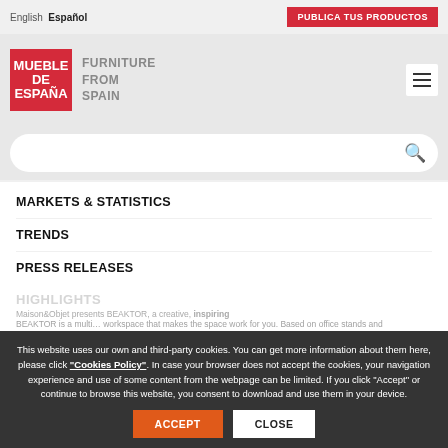English  Español   PUBLICA TUS PRODUCTOS
[Figure (logo): Mueble de España – Furniture From Spain logo with red square and hamburger menu icon]
Search bar
MARKETS & STATISTICS
TRENDS
PRESS RELEASES
HIGHLIGHTS
Maison&Objet presents BEAKTOR, a creative, inspiring
BEAKTOR is a multi… workspace that makes the space work for you. Based on office stands and
This website uses our own and third-party cookies. You can get more information about them here, please click "Cookies Policy". In case your browser does not accept the cookies, your navigation experience and use of some content from the webpage can be limited. If you click "Accept" or continue to browse this website, you consent to download and use them in your device.